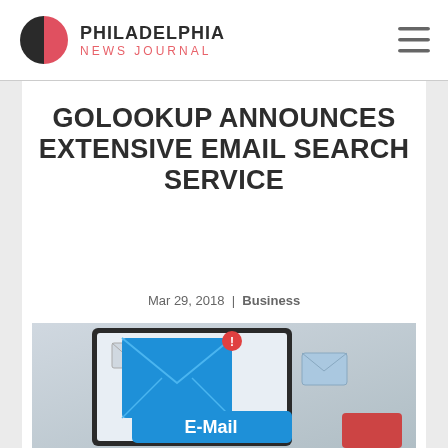PHILADELPHIA NEWS JOURNAL
GOLOOKUP ANNOUNCES EXTENSIVE EMAIL SEARCH SERVICE
Mar 29, 2018 | Business
[Figure (photo): Email concept illustration showing blue email envelope icons and a tablet, with an 'E-Mail' label button in the foreground and a notification badge.]